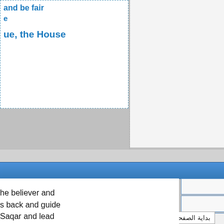and be fair e ue, the House
08-02-2016
إبن سينا • غير متواجد
مشرف عام
[Figure (illustration): Default user avatar silhouette placeholder image]
رقم العضوية : 4
تاريخ التسجيل : Sep 2010
المشاركات : 1,568
msday, all people l go towards Hell, he angels to worked the the angels will n the gravity of hich nowadays e sky as one of ky
he believer and s back and guide Saqar and lead
بداية الصفحة